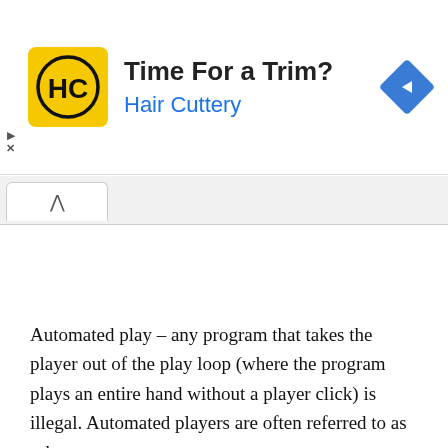[Figure (screenshot): Advertisement banner for Hair Cuttery with yellow HC logo, text 'Time For a Trim?' and 'Hair Cuttery' in blue, and a blue navigation diamond icon on the right. Play and close controls on the left.]
[Figure (screenshot): Browser tab area showing an open tab with an up-arrow (chevron) icon.]
Automated play – any program that takes the player out of the play loop (where the program plays an entire hand without a player click) is illegal. Automated players are often referred to as robots.